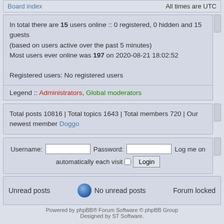Board index    All times are UTC
In total there are 15 users online :: 0 registered, 0 hidden and 15 guests (based on users active over the past 5 minutes)
Most users ever online was 197 on 2020-08-21 18:02:52

Registered users: No registered users
Legend :: Administrators, Global moderators
Total posts 10816 | Total topics 1643 | Total members 720 | Our newest member Doggo
Username:  Password:  Log me on automatically each visit  Login
Unread posts   No unread posts   Forum locked
Powered by phpBB® Forum Software © phpBB Group
Designed by ST Software.